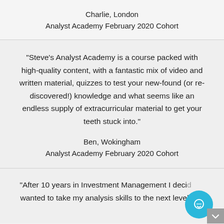Charlie, London
Analyst Academy February 2020 Cohort
“Steve’s Analyst Academy is a course packed with high-quality content, with a fantastic mix of video and written material, quizzes to test your new-found (or re-discovered!) knowledge and what seems like an endless supply of extracurricular material to get your teeth stuck into.”
Ben, Wokingham
Analyst Academy February 2020 Cohort
“After 10 years in Investment Management I decided I wanted to take my analysis skills to the next level and